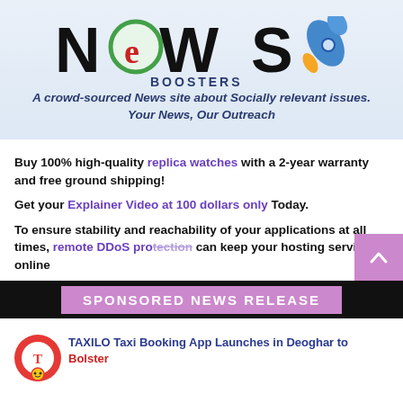[Figure (logo): News Boosters logo with rocket graphic and tagline 'A crowd-sourced News site about Socially relevant issues. Your News, Our Outreach']
Buy 100% high-quality replica watches with a 2-year warranty and free ground shipping!
Get your Explainer Video at 100 dollars only Today.
To ensure stability and reachability of your applications at all times, remote DDoS protection can keep your hosting services online
SPONSORED NEWS RELEASE
TAXILO Taxi Booking App Launches in Deoghar to Bolster